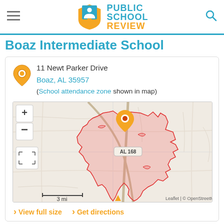[Figure (logo): Public School Review logo with shield icon and site name]
Boaz Intermediate School
11 Newt Parker Drive
Boaz, AL 35957
(School attendance zone shown in map)
[Figure (map): OpenStreetMap showing Boaz Intermediate School attendance zone boundary highlighted in pink/red, with a map pin marker at 11 Newt Parker Drive, Boaz AL. Shows AL 168 highway label. Map controls include + and - zoom buttons and a fullscreen button. Scale shows 3 mi. Attribution: Leaflet | © OpenStreetMap]
› View full size  › Get directions